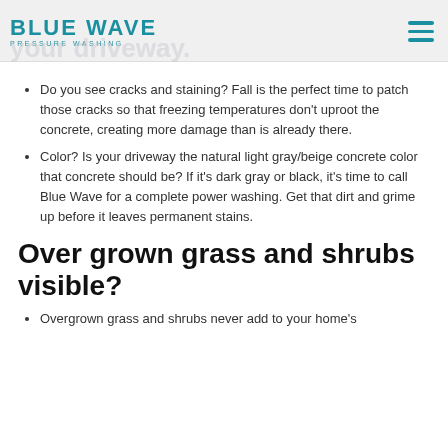Blue Wave Pressure Washing
Do you see cracks and staining?  Fall is the perfect time to patch those cracks so that freezing temperatures don't uproot the concrete, creating more damage than is already there.
Color?  Is your driveway the natural light gray/beige concrete color that concrete should be?  If it's dark gray or black, it's time to call Blue Wave for a complete power washing. Get that dirt and grime up before it leaves permanent stains.
Over grown grass and shrubs visible?
Overgrown grass and shrubs never add to your home's